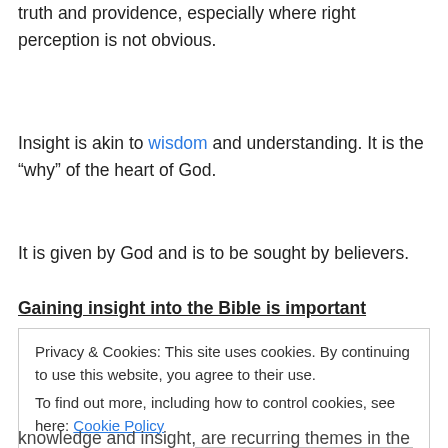truth and providence, especially where right perception is not obvious.
Insight is akin to wisdom and understanding. It is the “why” of the heart of God.
It is given by God and is to be sought by believers.
Gaining insight into the Bible is important because the
Privacy & Cookies: This site uses cookies. By continuing to use this website, you agree to their use. To find out more, including how to control cookies, see here: Cookie Policy
knowledge and insight, are recurring themes in the Bible.